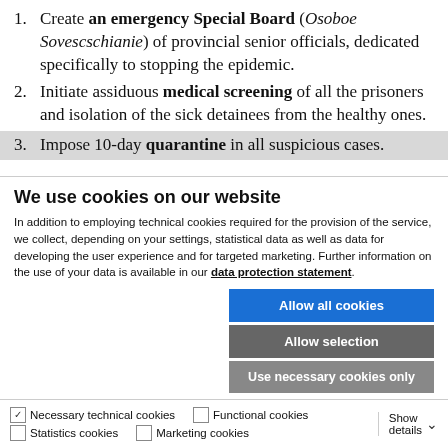Create an emergency Special Board (Osoboe Sovescschianie) of provincial senior officials, dedicated specifically to stopping the epidemic.
Initiate assiduous medical screening of all the prisoners and isolation of the sick detainees from the healthy ones.
Impose 10-day quarantine in all suspicious cases.
We use cookies on our website
In addition to employing technical cookies required for the provision of the service, we collect, depending on your settings, statistical data as well as data for developing the user experience and for targeted marketing. Further information on the use of your data is available in our data protection statement.
Allow all cookies
Allow selection
Use necessary cookies only
Necessary technical cookies | Functional cookies | Statistics cookies | Marketing cookies | Show details